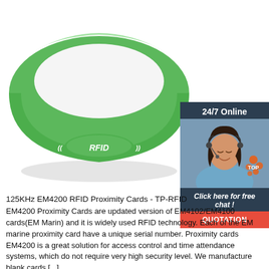[Figure (photo): Green silicone RFID wristband with '((RFID))' text embossed on the face, photographed on white background]
[Figure (photo): 24/7 Online customer support sidebar with photo of smiling woman with headset, 'Click here for free chat!' text, and orange QUOTATION button]
125KHz EM4200 RFID Proximity Cards - TP-RFID
EM4200 Proximity Cards are updated version of EM4102/EM4100 cards(EM Marin) and it is widely used RFID technology. Each of the EM marine proximity card have a unique serial number. Proximity cards EM4200 is a great solution for access control and time attendance systems, which do not require very high security level. We manufacture blank cards [...]